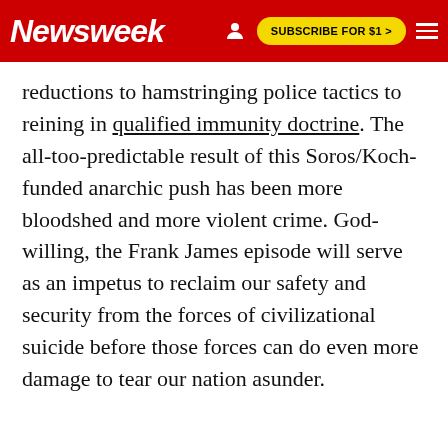Newsweek | SUBSCRIBE FOR $1 >
reductions to hamstringing police tactics to reining in qualified immunity doctrine. The all-too-predictable result of this Soros/Koch-funded anarchic push has been more bloodshed and more violent crime. God-willing, the Frank James episode will serve as an impetus to reclaim our safety and security from the forces of civilizational suicide before those forces can do even more damage to tear our nation asunder.